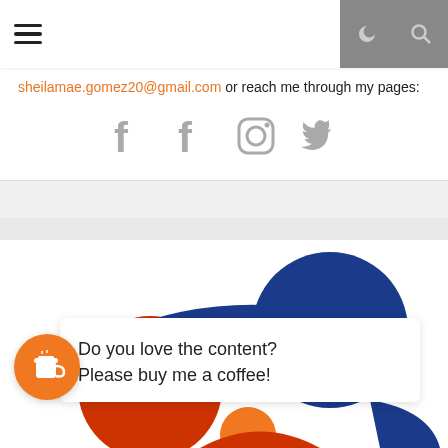Navigation bar with hamburger menu, moon icon, and search icon
sheilamae.gomez20@gmail.com or reach me through my pages:
[Figure (illustration): Four social media icons: two Facebook icons, one Instagram icon, one Twitter icon, all in gray]
[Figure (logo): Colorful logo with blue, red, and orange circular and swoosh shapes]
Do you love the content? Please buy me a coffee!
[Figure (illustration): Orange circular coffee cup buy-me-a-coffee button icon]